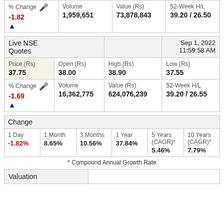| % Change | Volume | Value (Rs) | 52-Week H/L |
| --- | --- | --- | --- |
| -1.82 | 1,959,651 | 73,878,843 | 39.20 / 26.50 |
| Live NSE Quotes |  |  | Sep 1, 2022 11:59:58 AM |
| --- | --- | --- | --- |
| Price (Rs)
37.75 | Open (Rs)
38.00 | High (Rs)
38.90 | Low (Rs)
37.55 |
| % Change
-1.69 | Volume
16,362,775 | Value (Rs)
624,076,239 | 52-Week H/L
39.20 / 26.55 |
| Change |  |  |  |  |  |
| --- | --- | --- | --- | --- | --- |
| 1 Day
-1.82% | 1 Month
8.65% | 3 Months
10.56% | 1 Year
37.84% | 5 Years (CAGR)*
5.46% | 10 Years (CAGR)*
7.79% |
* Compound Annual Growth Rate
| Valuation |  |
| --- | --- |